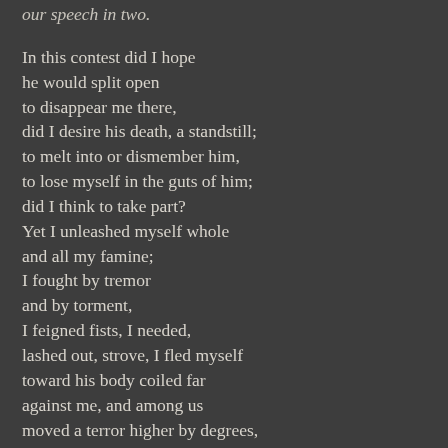our speech in two.

In this contest did I hope
he would split open
to disappear me there,
did I desire his death, a standstill;
to melt into or dismember him,
to lose myself in the guts of him;
did I think to take part?
Yet I unleashed myself whole
and all my famine;
I fought by tremor
and by torment,
I feigned fists, I needed,
lashed out, strove, I fled myself
toward his body coiled far
against me, and among us
moved a terror higher by degrees,
and a consecration.